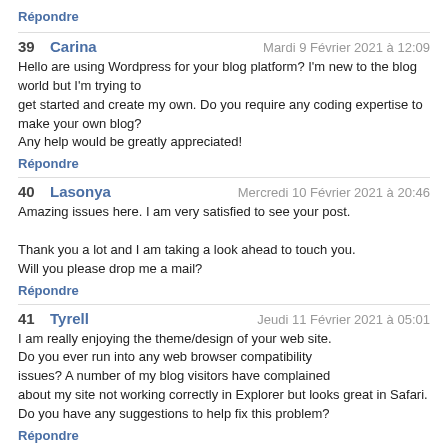Répondre
39  Carina   Mardi 9 Février 2021 à 12:09
Hello are using Wordpress for your blog platform? I'm new to the blog world but I'm trying to get started and create my own. Do you require any coding expertise to make your own blog?
Any help would be greatly appreciated!
Répondre
40  Lasonya   Mercredi 10 Février 2021 à 20:46
Amazing issues here. I am very satisfied to see your post.

Thank you a lot and I am taking a look ahead to touch you.
Will you please drop me a mail?
Répondre
41  Tyrell   Jeudi 11 Février 2021 à 05:01
I am really enjoying the theme/design of your web site.
Do you ever run into any web browser compatibility issues? A number of my blog visitors have complained about my site not working correctly in Explorer but looks great in Safari.
Do you have any suggestions to help fix this problem?
Répondre
42  Janina   Vendredi 12 Février 2021 à 01:44
hey there and thank you for your information – I have definitely picked up anything new from right here.